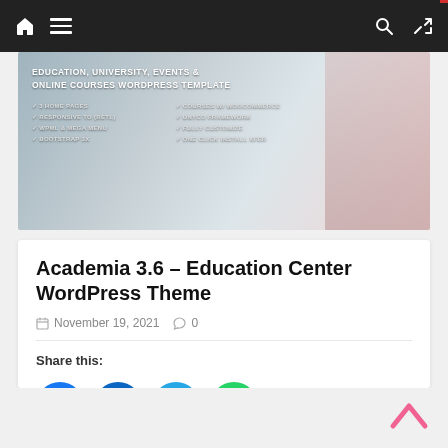Navigation bar with home icon, menu icon, search icon, shuffle icon
[Figure (screenshot): Education, University, Events & Online Courses WordPress Template hero banner with feature list and person studying]
Academia 3.6 – Education Center WordPress Theme
November 19, 2021   0
Share this:
[Figure (infographic): Social share buttons: Facebook, LinkedIn, Telegram, WhatsApp, and More button]